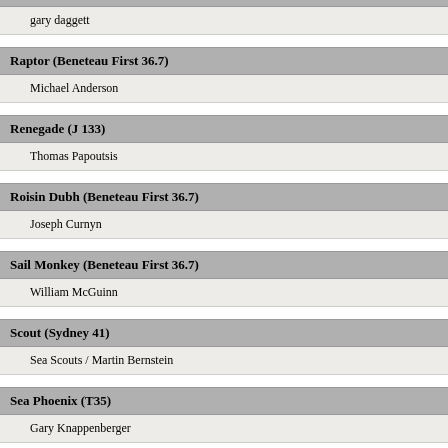gary daggett
Raptor (Beneteau First 36.7)
Michael Anderson
Renegade (J 133)
Thomas Papoutsis
Roisin Dubh (Beneteau First 36.7)
Joseph Curnyn
Sail Monkey (Beneteau First 36.7)
William McGuinn
Scout (Sydney 41)
Sea Scouts / Martin Bernstein
Sea Phoenix (T35)
Gary Knappenberger